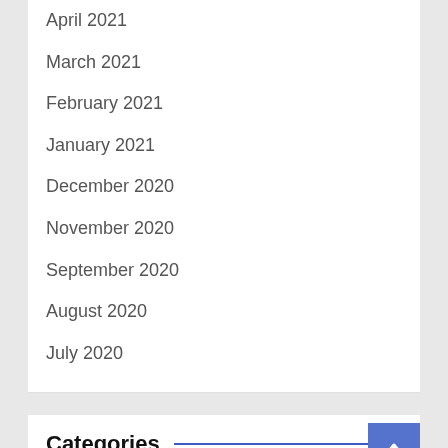April 2021
March 2021
February 2021
January 2021
December 2020
November 2020
September 2020
August 2020
July 2020
Categories
Diet
Fitness
Health care